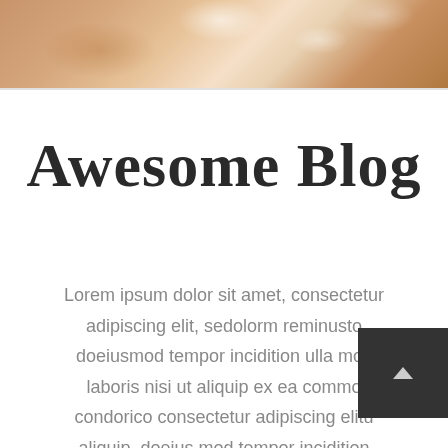[Figure (photo): Close-up photo of tan/brown leather texture with fur or hair visible, serving as a decorative header image strip]
Awesome Blog
Lorem ipsum dolor sit amet, consectetur adipiscing elit, sedolorm reminusto doeiusmod tempor incidition ulla mco laboris nisi ut aliquip ex ea commo condorico consectetur adipiscing elitu aliquip  doeius mod tempor incidition